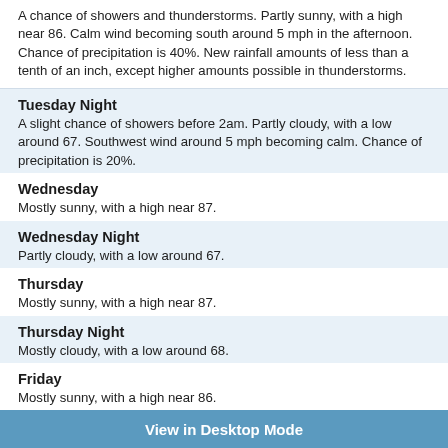A chance of showers and thunderstorms. Partly sunny, with a high near 86. Calm wind becoming south around 5 mph in the afternoon. Chance of precipitation is 40%. New rainfall amounts of less than a tenth of an inch, except higher amounts possible in thunderstorms.
Tuesday Night
A slight chance of showers before 2am. Partly cloudy, with a low around 67. Southwest wind around 5 mph becoming calm. Chance of precipitation is 20%.
Wednesday
Mostly sunny, with a high near 87.
Wednesday Night
Partly cloudy, with a low around 67.
Thursday
Mostly sunny, with a high near 87.
Thursday Night
Mostly cloudy, with a low around 68.
Friday
Mostly sunny, with a high near 86.
Friday Night
Mostly cloudy, with a low around 68.
Saturday
Partly sunny, with a high near 8…
View in Desktop Mode